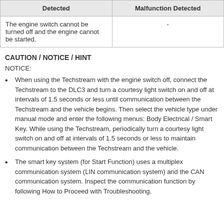| Detected | Malfunction Detected |
| --- | --- |
| The engine switch cannot be turned off and the engine cannot be started. | - |
CAUTION / NOTICE / HINT
NOTICE:
When using the Techstream with the engine switch off, connect the Techstream to the DLC3 and turn a courtesy light switch on and off at intervals of 1.5 seconds or less until communication between the Techstream and the vehicle begins. Then select the vehicle type under manual mode and enter the following menus: Body Electrical / Smart Key. While using the Techstream, periodically turn a courtesy light switch on and off at intervals of 1.5 seconds or less to maintain communication between the Techstream and the vehicle.
The smart key system (for Start Function) uses a multiplex communication system (LIN communication system) and the CAN communication system. Inspect the communication function by following How to Proceed with Troubleshooting.